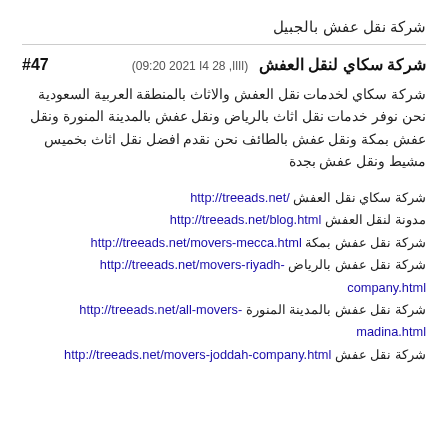شركة نقل عفش بالجبيل
#47  شركة سكاي لنقل العفش  (اااا, 28 4ا 2021 09:20)
شركة سكاي لخدمات نقل العفش والاثاث بالمنطقة العربية السعودية نحن نوفر خدمات نقل اثاث بالرياض ونقل عفش بالمدينة المنورة ونقل عفش بمكة ونقل عفش بالطائف نحن نقدم افضل نقل اثاث بخميس مشيط ونقل عفش بجدة
شركة سكاي نقل العفش http://treeads.net/
مدونة لنقل العفش http://treeads.net/blog.html
شركة نقل عفش بمكة http://treeads.net/movers-mecca.html
شركة نقل عفش بالرياض http://treeads.net/movers-riyadh-company.html
شركة نقل عفش بالمدينة المنورة http://treeads.net/all-movers-madina.html
شركة نقل عفش http://treeads.net/movers-joddah-company.html